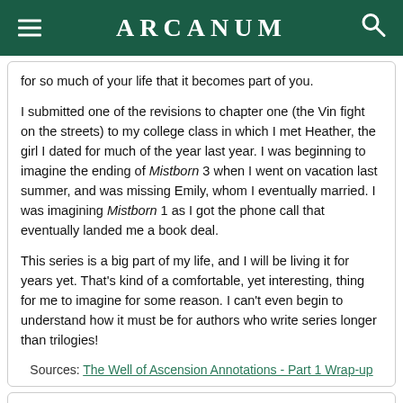ARCANUM
for so much of your life that it becomes part of you.
I submitted one of the revisions to chapter one (the Vin fight on the streets) to my college class in which I met Heather, the girl I dated for much of the year last year. I was beginning to imagine the ending of Mistborn 3 when I went on vacation last summer, and was missing Emily, whom I eventually married. I was imagining Mistborn 1 as I got the phone call that eventually landed me a book deal.
This series is a big part of my life, and I will be living it for years yet. That's kind of a comfortable, yet interesting, thing for me to imagine for some reason. I can't even begin to understand how it must be for authors who write series longer than trilogies!
Sources: The Well of Ascension Annotations - Part 1 Wrap-up
#39  Nov. 11, 2007
Brandon Sanderson